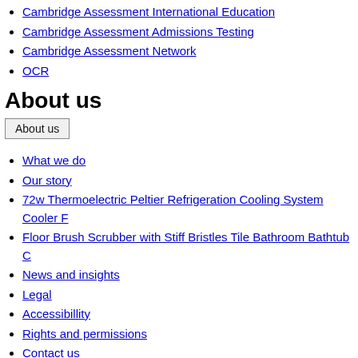Cambridge Assessment International Education
Cambridge Assessment Admissions Testing
Cambridge Assessment Network
OCR
About us
About us (button)
What we do
Our story
72w Thermoelectric Peltier Refrigeration Cooling System Cooler F
Floor Brush Scrubber with Stiff Bristles Tile Bathroom Bathtub C
News and insights
Legal
Accessibillity
Rights and permissions
Contact us